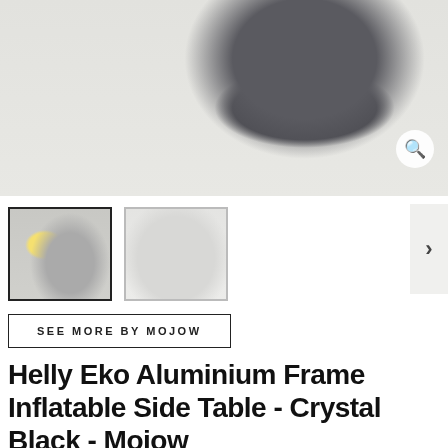[Figure (photo): Main product photo showing a dark grey/black inflatable side table viewed from above on a light grey/white tiled surface, with a zoom/search icon in the bottom right corner.]
[Figure (photo): Thumbnail 1 (active/selected): Close-up photo showing the inflation valve mechanism with yellow earplugs or similar components and metal fittings of the side table.]
[Figure (photo): Thumbnail 2: Photo showing the inflatable side table in white/clear color, showing its cylindrical shape.]
SEE MORE BY MOJOW
Helly Eko Aluminium Frame Inflatable Side Table - Crystal Black - Mojow
£170.00